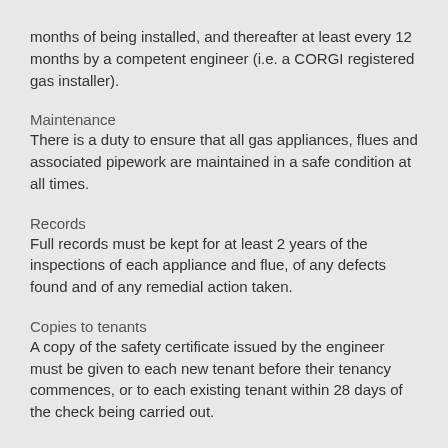months of being installed, and thereafter at least every 12 months by a competent engineer (i.e. a CORGI registered gas installer).
Maintenance
There is a duty to ensure that all gas appliances, flues and associated pipework are maintained in a safe condition at all times.
Records
Full records must be kept for at least 2 years of the inspections of each appliance and flue, of any defects found and of any remedial action taken.
Copies to tenants
A copy of the safety certificate issued by the engineer must be given to each new tenant before their tenancy commences, or to each existing tenant within 28 days of the check being carried out.